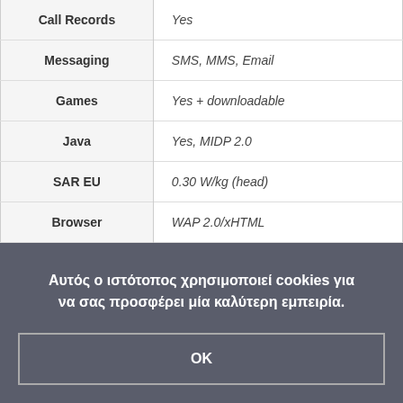| Feature | Value |
| --- | --- |
| Call Records | Yes |
| Messaging | SMS, MMS, Email |
| Games | Yes + downloadable |
| Java | Yes, MIDP 2.0 |
| SAR EU | 0.30 W/kg (head) |
| Browser | WAP 2.0/xHTML |
Αυτός ο ιστότοπος χρησιμοποιεί cookies για να σας προσφέρει μία καλύτερη εμπειρία.
OK